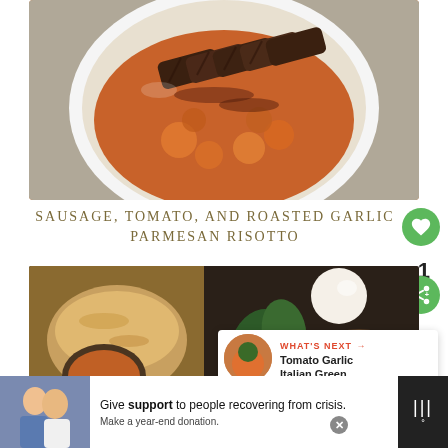[Figure (photo): A white bowl filled with sliced sausage on top of orange/red tomato parmesan risotto with roasted cauliflower, photographed from above on a marble surface]
SAUSAGE, TOMATO, AND ROASTED GARLIC PARMESAN RISOTTO
[Figure (photo): Flatlay of bread, burrata, basil leaves, and two bowls of orange tomato-based pasta or risotto on a dark surface]
WHAT'S NEXT → Tomato Garlic Italian Green...
[Figure (photo): Advertisement banner showing a couple and text: Give support to people recovering from crisis. Make a year-end donation.]